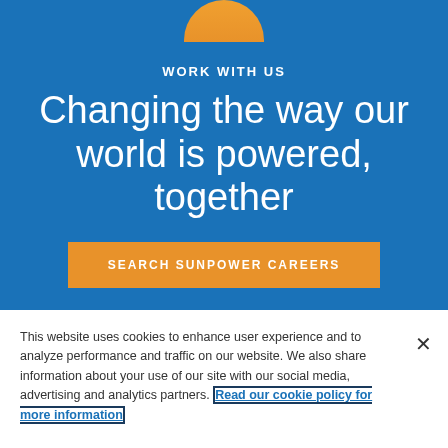[Figure (photo): Partial circular photo of a person at the top of the blue section, cropped by the top edge]
WORK WITH US
Changing the way our world is powered, together
SEARCH SUNPOWER CAREERS
This website uses cookies to enhance user experience and to analyze performance and traffic on our website. We also share information about your use of our site with our social media, advertising and analytics partners. Read our cookie policy for more information